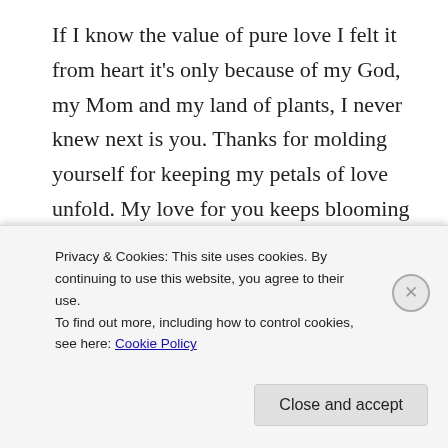If I know the value of pure love I felt it from heart it's only because of my God, my Mom and my land of plants, I never knew next is you. Thanks for molding yourself for keeping my petals of love unfold. My love for you keeps blooming with blossoms of beautiful flowers forever.
Advertisements
[Figure (other): Advertisement banner for DayOne journal app showing a phone and text 'Your Journal for life' on a blue background]
You are glowing more beautiful than my lovely roses in
Privacy & Cookies: This site uses cookies. By continuing to use this website, you agree to their use.
To find out more, including how to control cookies, see here: Cookie Policy